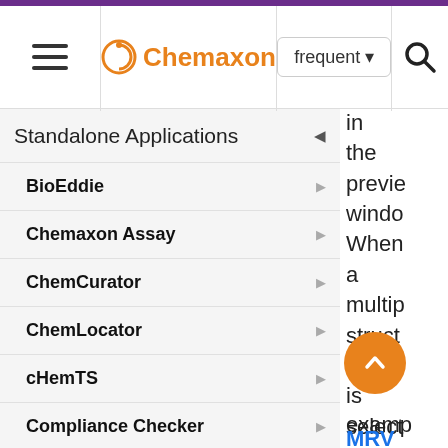≡  Chemaxon  frequent ▾  🔍
Standalone Applications
BioEddie
Chemaxon Assay
ChemCurator
ChemLocator
cHemTS
Compliance Checker
Compound Registration
Instant JChem
in the preview window. When a multipage structure file is selected (for example MRV